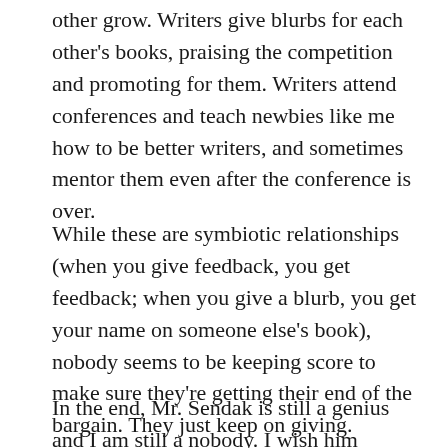other grow. Writers give blurbs for each other's books, praising the competition and promoting for them. Writers attend conferences and teach newbies like me how to be better writers, and sometimes mentor them even after the conference is over.
While these are symbiotic relationships (when you give feedback, you get feedback; when you give a blurb, you get your name on someone else's book), nobody seems to be keeping score to make sure they're getting their end of the bargain. They just keep on giving.
In the end, Mr. Sendak is still a genius and I am still a nobody. I wish him continued